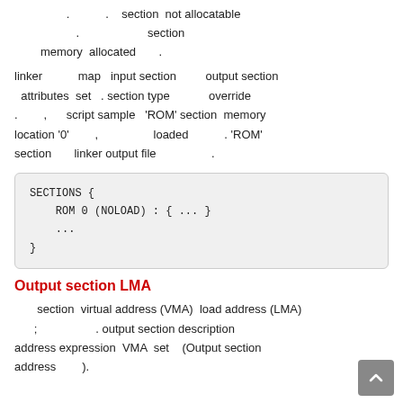. . section not allocatable . section memory allocated .
linker map input section output section attributes set . section type override . , script sample 'ROM' section memory location '0' , loaded . 'ROM' section linker output file .
SECTIONS {
    ROM 0 (NOLOAD) : { ... }
    ...
}
Output section LMA
section virtual address (VMA) load address (LMA) ; . output section description address expression VMA set (Output section address ).